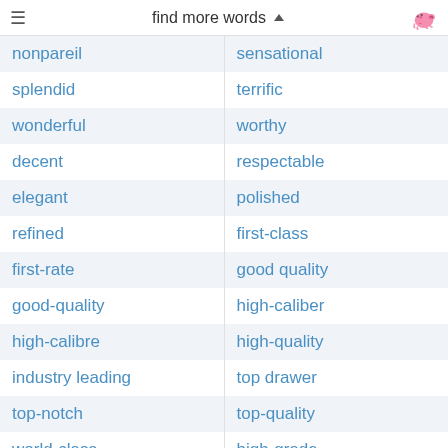find more words
| nonpareil | sensational |
| splendid | terrific |
| wonderful | worthy |
| decent | respectable |
| elegant | polished |
| refined | first-class |
| first-rate | good quality |
| good-quality | high-caliber |
| high-calibre | high-quality |
| industry leading | top drawer |
| top-notch | top-quality |
| world-class | high-grade |
| quality | sik |
| high-class | exo |
| de luxe | a cut above |